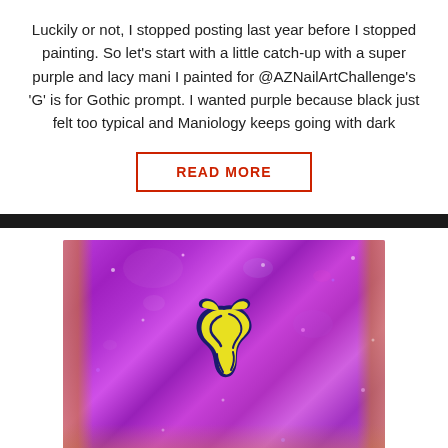Luckily or not, I stopped posting last year before I stopped painting. So let's start with a little catch-up with a super purple and lacy mani I painted for @AZNailArtChallenge's 'G' is for Gothic prompt. I wanted purple because black just felt too typical and Maniology keeps going with dark
READ MORE
[Figure (photo): Close-up macro photo of a fingernail painted with a sparkly purple/violet glitter polish, featuring a yellow and dark navy decorative nail art design (swirling shape) on top, with bokeh sparkle effects visible across the nail surface.]